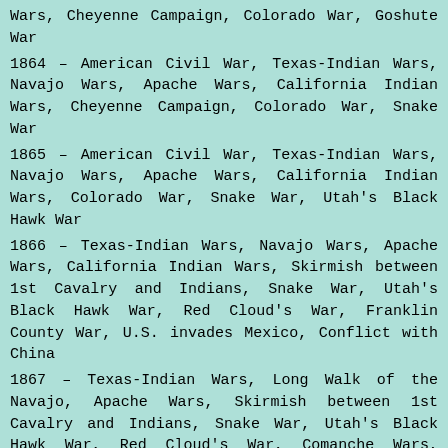Wars, Cheyenne Campaign, Colorado War, Goshute War
1864 – American Civil War, Texas-Indian Wars, Navajo Wars, Apache Wars, California Indian Wars, Cheyenne Campaign, Colorado War, Snake War
1865 – American Civil War, Texas-Indian Wars, Navajo Wars, Apache Wars, California Indian Wars, Colorado War, Snake War, Utah's Black Hawk War
1866 – Texas-Indian Wars, Navajo Wars, Apache Wars, California Indian Wars, Skirmish between 1st Cavalry and Indians, Snake War, Utah's Black Hawk War, Red Cloud's War, Franklin County War, U.S. invades Mexico, Conflict with China
1867 – Texas-Indian Wars, Long Walk of the Navajo, Apache Wars, Skirmish between 1st Cavalry and Indians, Snake War, Utah's Black Hawk War, Red Cloud's War, Comanche Wars, Franklin County War, U.S. troops occupy Nicaragua and attack Taiwan
1868 – Texas-Indian Wars, Long Walk of the Navajo, Apache Wars, Skirmish between 1st Cavalry and Indians, Snake War, Utah's Black Hawk War, Red Cloud's War, Comanche Wars, Battle of Washita River, Franklin County War
1869 – Texas-Indian Wars, Apache Wars, Skirmish between